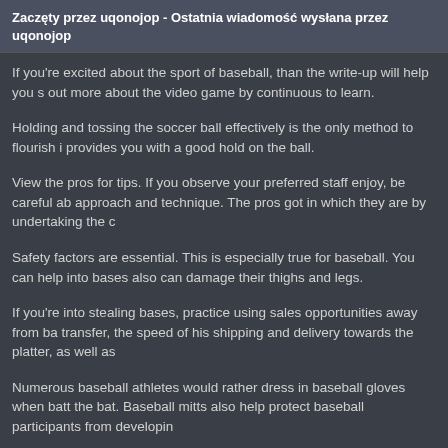Zaczęty przez uqonojop - Ostatnia wiadomość wysłana przez uqonojop
If you're excited about the sport of baseball, than the write-up will help you s... out more about the video game by continuous to learn.
Holding and tossing the soccer ball effectively is the only method to flourish i... provides you with a good hold on the ball.
View the pros for tips. If you observe your preferred staff enjoy, be careful ab... approach and technique. The pros got in which they are by undertaking the c...
Safety factors are essential. This is especially true for baseball. You can help... into bases also can damage their thighs and legs.
If you're into stealing bases, practice using sales opportunities away from ba... transfer, the speed of his shipping and delivery towards the platter, as well as...
Numerous baseball athletes would rather dress in baseball gloves when batt... the bat. Baseball mitts also help protect baseball participants from developin...
Shaving cream can be used to burglary a new baseball glove. When investir... there and tie up a rope throughout the glove and baseball. Continue this pro...
When fielding a soil tennis ball, rectangular up on the ball before getting. Sev... problem. If you've received time to get while watching soccer ball, do this. Us...